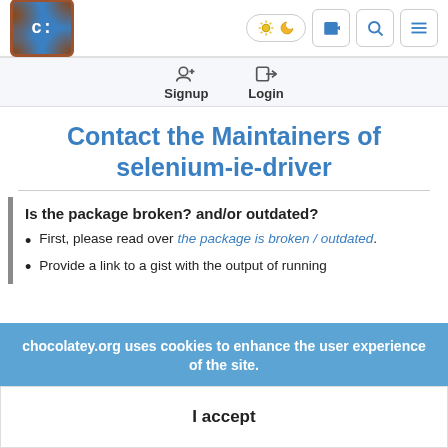Chocolatey.org navigation bar with logo, theme toggle, announcement, search, and menu icons
Signup  Login
Contact the Maintainers of selenium-ie-driver
Is the package broken? and/or outdated?
First, please read over the package is broken / outdated.
Provide a link to a gist with the output of running
chocolatey.org uses cookies to enhance the user experience of the site.
I accept